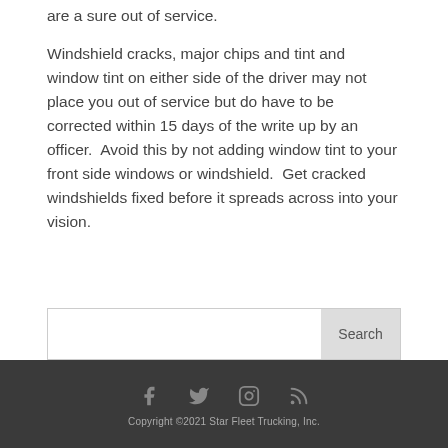are a sure out of service.
Windshield cracks, major chips and tint and window tint on either side of the driver may not place you out of service but do have to be corrected within 15 days of the write up by an officer.  Avoid this by not adding window tint to your front side windows or windshield.  Get cracked windshields fixed before it spreads across into your vision.
Copyright ©2021 Star Fleet Trucking, Inc.